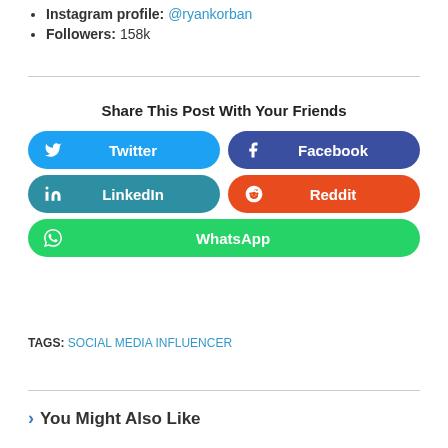Instagram profile: @ryankorban
Followers: 158k
Share This Post With Your Friends
[Figure (infographic): Social share buttons for Twitter, Facebook, LinkedIn, Reddit, and WhatsApp]
TAGS: SOCIAL MEDIA INFLUENCER
You Might Also Like